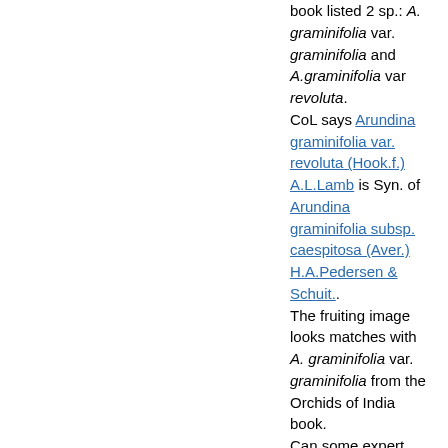book listed 2 sp.: A. graminifolia var. graminifolia and A.graminifolia var revoluta. CoL says Arundina graminifolia var. revoluta (Hook.f.) A.L.Lamb is Syn. of Arundina graminifolia subsp. caespitosa (Aver.) H.A.Pedersen & Schuit.. The fruiting image looks matches with A. graminifolia var. graminifolia from the Orchids of India book. Can some expert put light on this ?